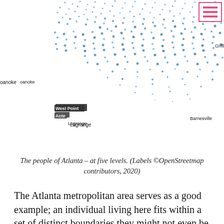[Figure (map): Map showing the Atlanta metropolitan area with blue dot density overlay representing population. Labels visible include Griffin, Roanoke, West Point, Acte, Lagrange, and Barnesville. A hamburger menu icon appears in the top-right corner with pink/red lines.]
The people of Atlanta – at five levels. (Labels ©OpenStreetmap contributors, 2020)
The Atlanta metropolitan area serves as a good example; an individual living here fits within a set of distinct boundaries they might not even be aware of. Folks in Hopkins Mill are part of Census block group 131350503142, ZIP code 30096, in the city of Norcross, in Gwinnett county, in the greater Atlanta metro – and each of those aggregate levels can offer unique insights if you're a brand with